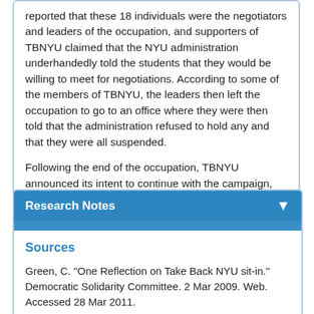reported that these 18 individuals were the negotiators and leaders of the occupation, and supporters of TBNYU claimed that the NYU administration underhandedly told the students that they would be willing to meet for negotiations. According to some of the members of TBNYU, the leaders then left the occupation to go to an office where they were then told that the administration refused to hold any and that they were all suspended.
Following the end of the occupation, TBNYU announced its intent to continue with the campaign, however, no further actions were actually carried out by the group.
Research Notes
Sources
Green, C. "One Reflection on Take Back NYU sit-in." Democratic Solidarity Committee. 2 Mar 2009. Web. Accessed 28 Mar 2011.